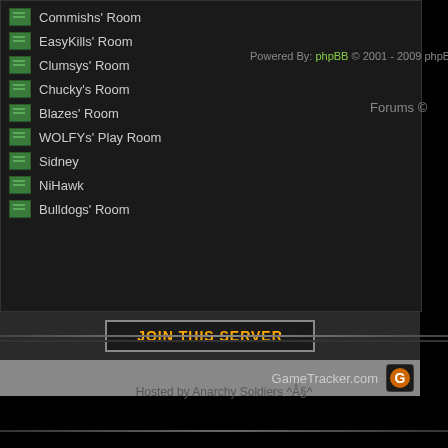Commishs' Room
EasyKills' Room
Clumsys' Room
Chucky's Room
Blazes' Room
WOLFYs' Play Room
Sidney
NiHawk
Bulldogs' Room
JOIN THIS SERVER
GameTracker.com
Powered By: phpBB © 2001 - 2009 phpBB Group
Forums ©
Hosted by Anarchy Soldiers ^Â§^